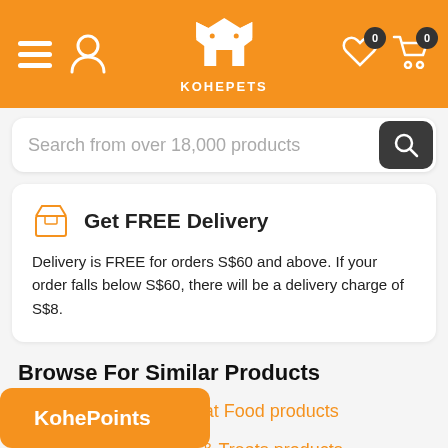KOHEPETS
Search from over 18,000 products
Get FREE Delivery
Delivery is FREE for orders S$60 and above. If your order falls below S$60, there will be a delivery charge of S$8.
Browse For Similar Products
See more Canned Cat Food products
See more Cat Food & Treats products
ucts from Zealandia
KohePoints